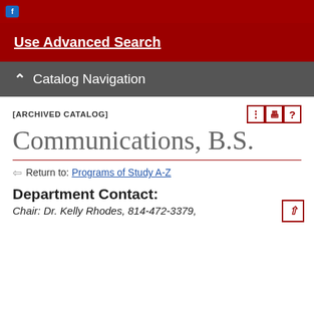Use Advanced Search
Catalog Navigation
[ARCHIVED CATALOG]
Communications, B.S.
Return to: Programs of Study A-Z
Department Contact:
Chair: Dr. Kelly Rhodes, 814-472-3379,